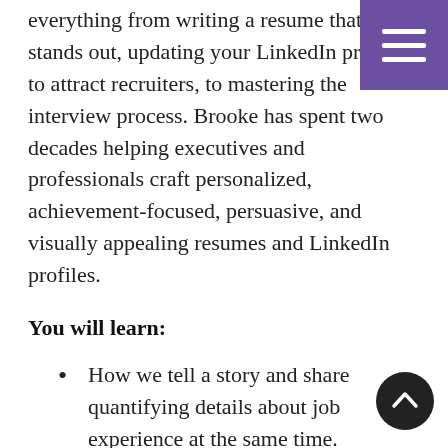everything from writing a resume that stands out, updating your LinkedIn profile to attract recruiters, to mastering the interview process. Brooke has spent two decades helping executives and professionals craft personalized, achievement-focused, persuasive, and visually appealing resumes and LinkedIn profiles.
You will learn:
How we tell a story and share quantifying details about job experience at the same time.